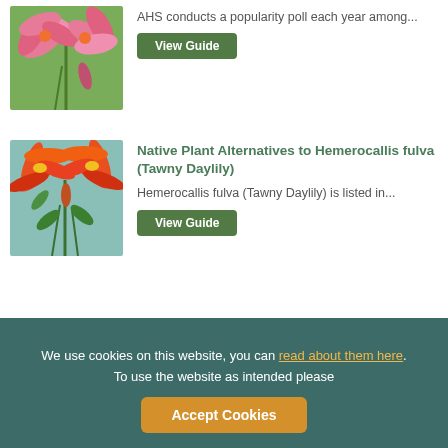[Figure (photo): Pink daylily flowers against a green background]
AHS conducts a popularity poll each year among...
View Guide
[Figure (photo): Orange and red daylily (Hemerocallis fulva, Tawny Daylily) flowers against a light blue-green background]
Native Plant Alternatives to Hemerocallis fulva (Tawny Daylily)
Hemerocallis fulva (Tawny Daylily) is listed in...
View Guide
We use cookies on this website, you can read about them here. To use the website as intended please
Accept Cookies